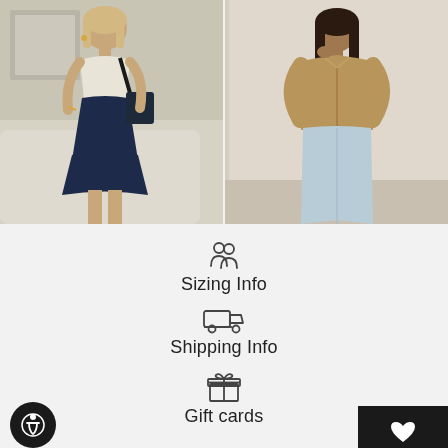[Figure (photo): Two fashion photos side by side. Left: blonde woman wearing sunglasses, white knit crop top, navy pleated mini skirt, holding a dark handbag, standing near a cream sofa. Right: brunette woman wearing tan/khaki oversized button-up shirt and light blue jeans, standing in a neutral room.]
Sizing Info
Shipping Info
Gift cards